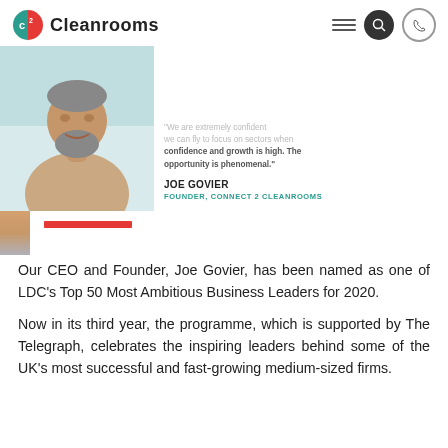Cleanrooms
[Figure (photo): Photo of Joe Govier, a bearded man wearing a light grey t-shirt, smiling, with a light teal/blue background]
"We are extremely confident we can fly to focus on sectors where confidence and growth is high. The opportunity is phenomenal."
JOE GOVIER
FOUNDER, CONNECT 2 CLEANROOMS
[Figure (photo): Partial side photo strip showing an arm]
Our CEO and Founder, Joe Govier, has been named as one of LDC's Top 50 Most Ambitious Business Leaders for 2020.
Now in its third year, the programme, which is supported by The Telegraph, celebrates the inspiring leaders behind some of the UK's most successful and fast-growing medium-sized firms.